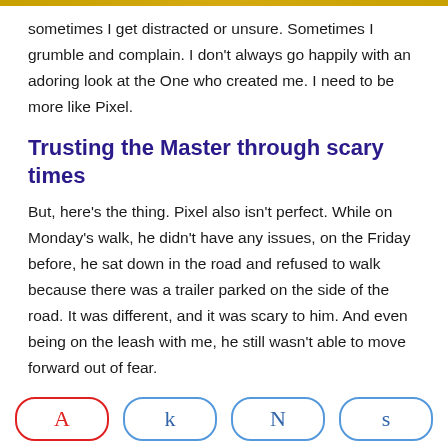sometimes I get distracted or unsure. Sometimes I grumble and complain. I don't always go happily with an adoring look at the One who created me. I need to be more like Pixel.
Trusting the Master through scary times
But, here's the thing. Pixel also isn't perfect. While on Monday's walk, he didn't have any issues, on the Friday before, he sat down in the road and refused to walk because there was a trailer parked on the side of the road. It was different, and it was scary to him. And even being on the leash with me, he still wasn't able to move forward out of fear.
Oh my how I relate to that! I get scared sometimes. I get overwhelmed. I get anxious. When the future looks unclear or